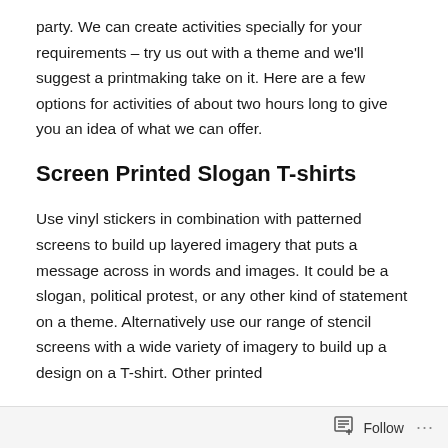party. We can create activities specially for your requirements – try us out with a theme and we'll suggest a printmaking take on it. Here are a few options for activities of about two hours long to give you an idea of what we can offer.
Screen Printed Slogan T-shirts
Use vinyl stickers in combination with patterned screens to build up layered imagery that puts a message across in words and images. It could be a slogan, political protest, or any other kind of statement on a theme. Alternatively use our range of stencil screens with a wide variety of imagery to build up a design on a T-shirt. Other printed
Follow ···